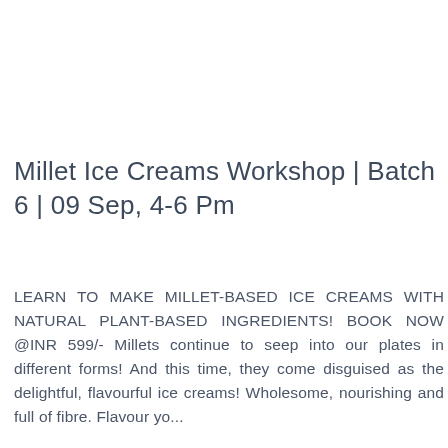Millet Ice Creams Workshop | Batch 6 | 09 Sep, 4-6 Pm
LEARN TO MAKE MILLET-BASED ICE CREAMS WITH NATURAL PLANT-BASED INGREDIENTS! BOOK NOW @INR 599/- Millets continue to seep into our plates in different forms! And this time, they come disguised as the delightful, flavourful ice creams! Wholesome, nourishing and full of fibre. Flavour yo...
[Figure (other): Share icon button — red share/network icon inside a rectangular bordered box]